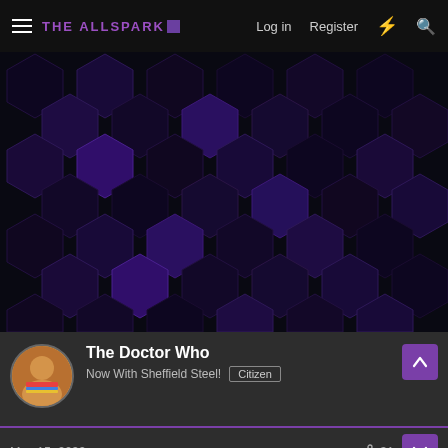THE ALLSPARK  Log in  Register
[Figure (illustration): Dark hexagonal honeycomb pattern background with purple-tinted hexagons on black background, used as a banner image]
The Doctor Who
Now With Sheffield Steel!  Citizen
May 15, 2022  31
Beathra paused, considering his response. As much as he may